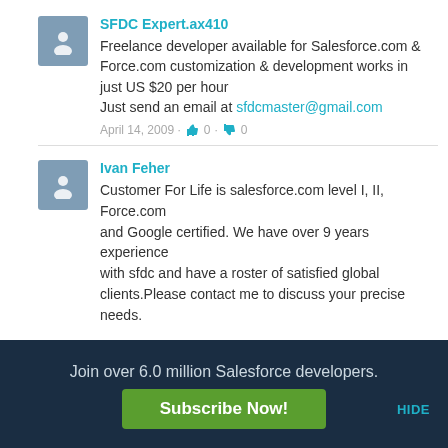SFDC Expert.ax410
Freelance developer available for Salesforce.com & Force.com customization & development works in just US $20 per hour
Just send an email at sfdcmaster@gmail.com
April 14, 2009 · 👍 0 · 👎 0
Ivan Feher
Customer For Life is salesforce.com level I, II, Force.com and Google certified. We have over 9 years experience with sfdc and have a roster of satisfied global clients.Please contact me to discuss your precise needs.

Thank you.

Ivan Feher
http://customerforlife.com
Join over 6.0 million Salesforce developers.
Subscribe Now!
HIDE